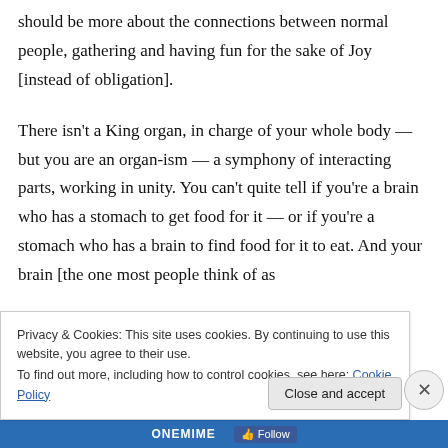should be more about the connections between normal people, gathering and having fun for the sake of Joy [instead of obligation].
There isn't a King organ, in charge of your whole body — but you are an organ-ism — a symphony of interacting parts, working in unity. You can't quite tell if you're a brain who has a stomach to get food for it — or if you're a stomach who has a brain to find food for it to eat. And your brain [the one most people think of as
Privacy & Cookies: This site uses cookies. By continuing to use this website, you agree to their use.
To find out more, including how to control cookies, see here: Cookie Policy